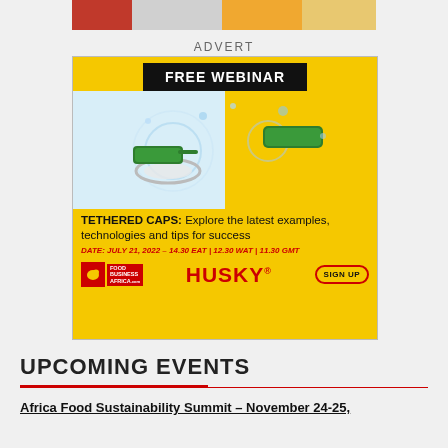[Figure (photo): Partial top image of food/beverage products on grey background]
ADVERT
[Figure (illustration): Free Webinar advertisement for Tethered Caps webinar by Husky and Food Business Africa. Yellow background with image of tethered plastic caps with water splash. Text: FREE WEBINAR | TETHERED CAPS: Explore the latest examples, technologies and tips for success | DATE: JULY 21, 2022 – 14.30 EAT | 12.30 WAT | 11.30 GMT. Logos: Food Business Africa, HUSKY®, SIGN UP button.]
UPCOMING EVENTS
Africa Food Sustainability Summit – November 24-25,